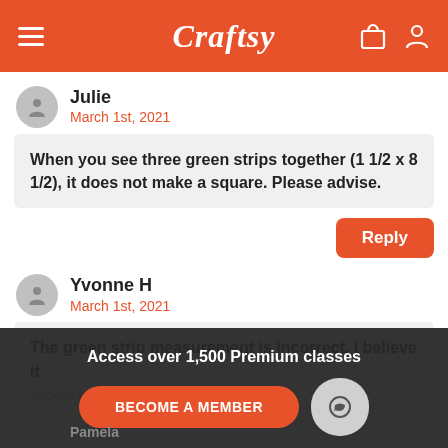[Figure (screenshot): Craftsy website header with orange background, hamburger menu icon on left, Craftsy italic logo in center, shopping bag and user icons on right]
Julie
March 1st, 2021
When you see three green strips together (1 1/2 x 8 1/2), it does not make a square. Please advise.
Reply
Yvonne H
March 1st, 2021
The green strip measurement is incorrect. I believe it
should be 1 1/2 X 5 1/2.
Access over 1,500 Premium classes
BECOME A MEMBER
Pamela